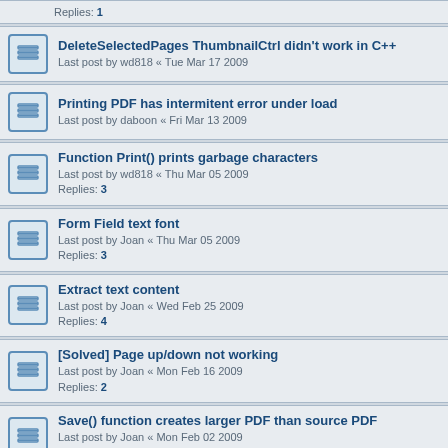Replies: 1
DeleteSelectedPages ThumbnailCtrl didn't work in C++
Last post by wd818 « Tue Mar 17 2009
Printing PDF has intermitent error under load
Last post by daboon « Fri Mar 13 2009
Function Print() prints garbage characters
Last post by wd818 « Thu Mar 05 2009
Replies: 3
Form Field text font
Last post by Joan « Thu Mar 05 2009
Replies: 3
Extract text content
Last post by Joan « Wed Feb 25 2009
Replies: 4
[Solved] Page up/down not working
Last post by Joan « Mon Feb 16 2009
Replies: 2
Save() function creates larger PDF than source PDF
Last post by Joan « Mon Feb 02 2009
Replies: 1
Incompatability issue with Adobe FrameMaker 8.0
Last post by Joan « Fri Nov 21 2008
Replies: 1
New Topic | 386 topics | 1 2 3 4 5 ... 8